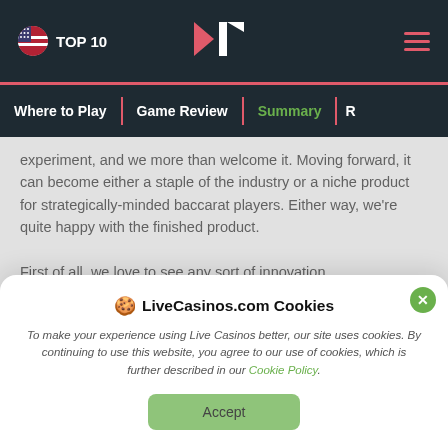TOP 10 | LiveCasinos.com logo | hamburger menu
Where to Play | Game Review | Summary | R...
experiment, and we more than welcome it. Moving forward, it can become either a staple of the industry or a niche product for strategically-minded baccarat players. Either way, we're quite happy with the finished product.

First of all, we love to see any sort of innovation
[Figure (screenshot): Cookie consent modal overlay with title 'LiveCasinos.com Cookies', body text about cookie usage policy, a Cookie Policy link, and an Accept button. Has a green close X button in top right.]